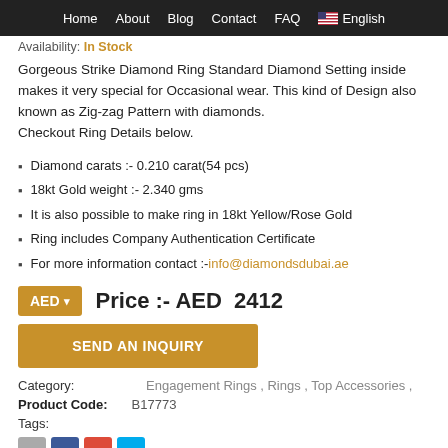Home  About  Blog  Contact  FAQ  English
Availability: In Stock
Gorgeous Strike Diamond Ring Standard Diamond Setting inside makes it very special for Occasional wear. This kind of Design also known as Zig-zag Pattern with diamonds. Checkout Ring Details below.
Diamond carats :- 0.210 carat(54 pcs)
18kt Gold weight :- 2.340 gms
It is also possible to make ring in 18kt Yellow/Rose Gold
Ring includes Company Authentication Certificate
For more information contact :- info@diamondsdubai.ae
AED ▾   Price :- AED  2412
SEND AN INQUIRY
Category:   Engagement Rings , Rings , Top Accessories ,
Product Code:  B17773
Tags: